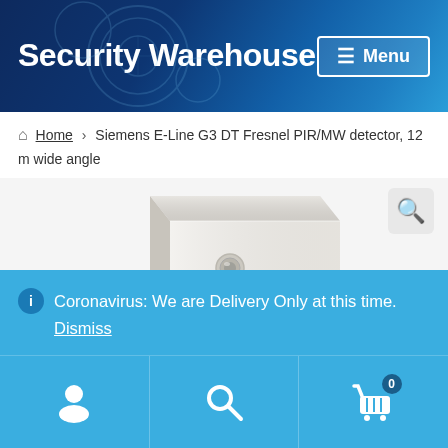Security Warehouse
Home > Siemens E-Line G3 DT Fresnel PIR/MW detector, 12 m wide angle
[Figure (photo): White rectangular PIR/MW security detector sensor device, angled view showing the front and top face, with a small circular lens/sensor element on the front face.]
Coronavirus: We are Delivery Only at this time.
Dismiss